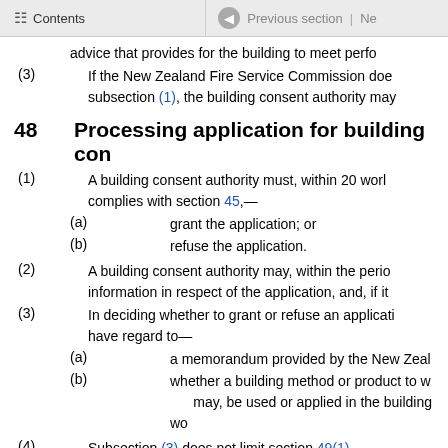Contents | Previous section | Ne
advice that provides for the building to meet perfo
(3) If the New Zealand Fire Service Commission doe subsection (1), the building consent authority may
48 Processing application for building con
(1) A building consent authority must, within 20 worl complies with section 45,—
(a) grant the application; or
(b) refuse the application.
(2) A building consent authority may, within the perio information in respect of the application, and, if it
(3) In deciding whether to grant or refuse an applicati have regard to—
(a) a memorandum provided by the New Zeal
(b) whether a building method or product to w may, be used or applied in the building wo
(4) Subsection (3) does not limit section 49(1).
Compare: 1991 No 150 s 34(1), (2)
49 Grant of building consent